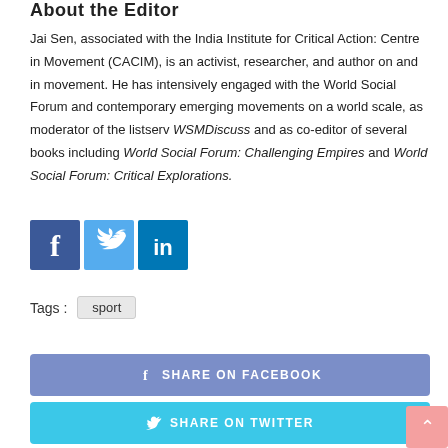About the Editor
Jai Sen, associated with the India Institute for Critical Action: Centre in Movement (CACIM), is an activist, researcher, and author on and in movement. He has intensively engaged with the World Social Forum and contemporary emerging movements on a world scale, as moderator of the listserv WSMDiscuss and as co-editor of several books including World Social Forum: Challenging Empires and World Social Forum: Critical Explorations.
[Figure (other): Social media icons: Facebook, Twitter, LinkedIn]
Tags : sport
[Figure (other): SHARE ON FACEBOOK button]
[Figure (other): SHARE ON TWITTER button]